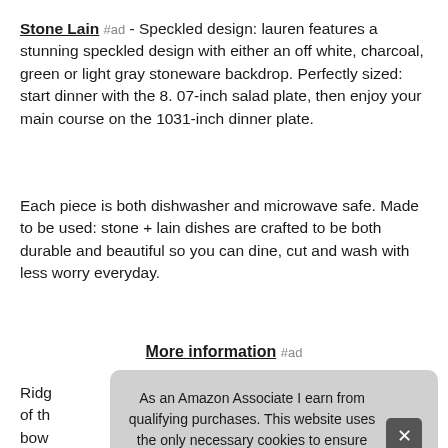Stone Lain #ad - Speckled design: lauren features a stunning speckled design with either an off white, charcoal, green or light gray stoneware backdrop. Perfectly sized: start dinner with the 8. 07-inch salad plate, then enjoy your main course on the 1031-inch dinner plate.
Each piece is both dishwasher and microwave safe. Made to be used: stone + lain dishes are crafted to be both durable and beautiful so you can dine, cut and wash with less worry everyday.
More information #ad
Ridg... of th... bow... com... back, stylish and complete with everything you need for your
As an Amazon Associate I earn from qualifying purchases. This website uses the only necessary cookies to ensure you get the best experience on our website. More information